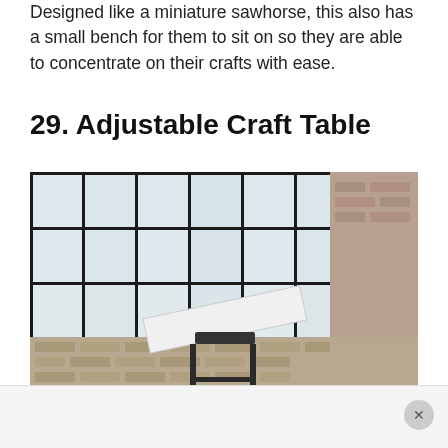Designed like a miniature sawhorse, this also has a small bench for them to sit on so they are able to concentrate on their crafts with ease.
29. Adjustable Craft Table
[Figure (photo): An adjustable craft table or drafting table with a tilted white surface on a dark metal frame, set in an industrial loft space with large multi-pane factory windows and exposed brick walls.]